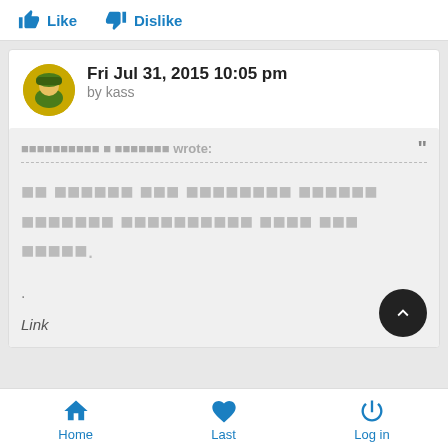Like   Dislike
Fri Jul 31, 2015 10:05 pm
by kass
[quoted text with non-renderable characters] wrote:
[Non-renderable characters forming quoted message body]
.
Link
Home   Last   Log in